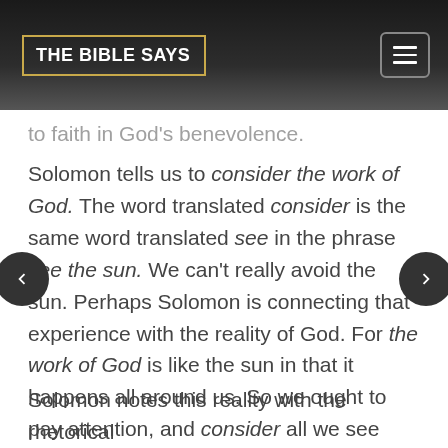THE BIBLE SAYS
to faith in God's benevolence.
Solomon tells us to consider the work of God. The word translated consider is the same word translated see in the phrase see the sun. We can't really avoid the sun. Perhaps Solomon is connecting that experience with the reality of God. For the work of God is like the sun in that it happens all around us. So we ought to pay attention, and consider all we see that is the work of God, and seek to understand what God's work is telling us.
Solomon notes this reality with the rhetorical